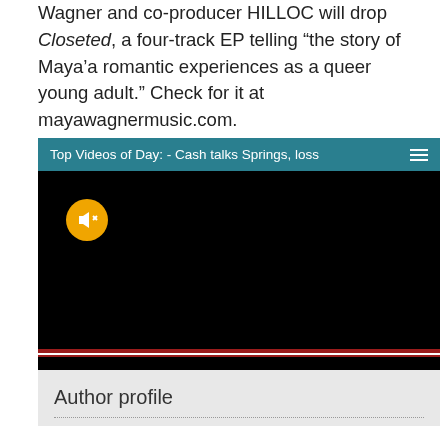Wagner and co-producer HILLOC will drop Closeted, a four-track EP telling “the story of Maya’a romantic experiences as a queer young adult.” Check for it at mayawagnermusic.com.
[Figure (screenshot): Embedded video player with teal header bar reading 'Top Videos of Day: - Cash talks Springs, loss' with hamburger menu icon, black video screen with yellow muted speaker button in upper left corner.]
Author profile